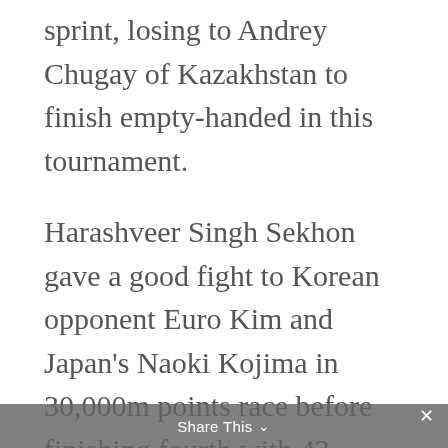sprint, losing to Andrey Chugay of Kazakhstan to finish empty-handed in this tournament.

Harashveer Singh Sekhon gave a good fight to Korean opponent Euro Kim and Japan's Naoki Kojima in 30,000m points race before finishing fourth with 43 points. Hammadi Al Mirza secured gold in this event with 69 points, followed by Korea (61
Share This ∨  ×